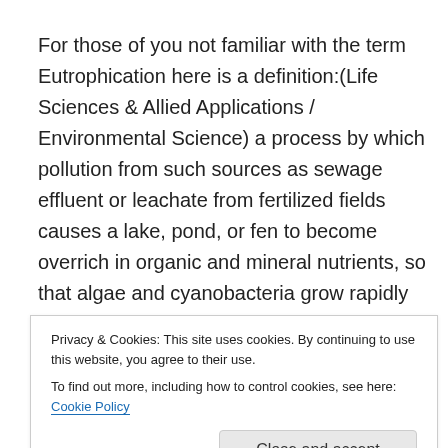For those of you not familiar with the term Eutrophication here is a definition:(Life Sciences & Allied Applications / Environmental Science) a process by which pollution from such sources as sewage effluent or leachate from fertilized fields causes a lake, pond, or fen to become overrich in organic and mineral nutrients, so that algae and cyanobacteria grow rapidly and deplete the oxygen supply often causing a die-off of other organisms.

The basic message is that its very threatening to the
Privacy & Cookies: This site uses cookies. By continuing to use this website, you agree to their use.
To find out more, including how to control cookies, see here: Cookie Policy
Close and accept
Forum runs from May 22-24 and brings together a host of